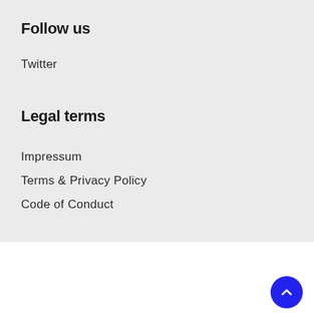Follow us
Twitter
Legal terms
Impressum
Terms & Privacy Policy
Code of Conduct
BUILD WITH ♥ IN GERMANY
THIS WEBSITE IS RUN BY PYSV E.V.